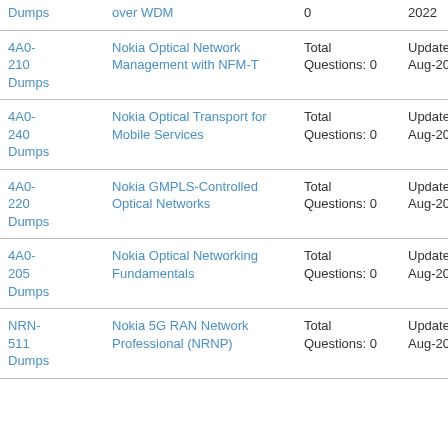| Code | Exam Name | Questions | Updated |
| --- | --- | --- | --- |
| Dumps | over WDM | 0 | 2022 |
| 4A0-210 Dumps | Nokia Optical Network Management with NFM-T | Total Questions: 0 | Updated: 16-Aug-2022 |
| 4A0-240 Dumps | Nokia Optical Transport for Mobile Services | Total Questions: 0 | Updated: 16-Aug-2022 |
| 4A0-220 Dumps | Nokia GMPLS-Controlled Optical Networks | Total Questions: 0 | Updated: 16-Aug-2022 |
| 4A0-205 Dumps | Nokia Optical Networking Fundamentals | Total Questions: 0 | Updated: 17-Aug-2022 |
| NRN-511 Dumps | Nokia 5G RAN Network Professional (NRNP) | Total Questions: 0 | Updated: 17-Aug-2022 |